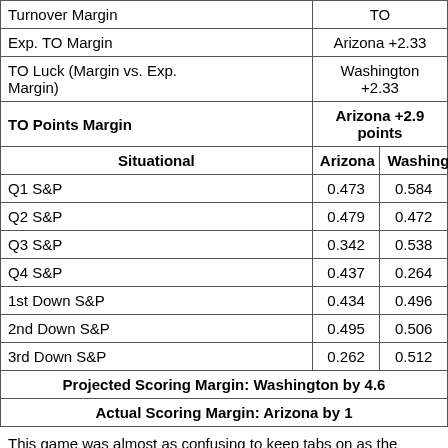|  | Arizona | Washington |
| --- | --- | --- |
| Turnover Margin | TO |  |
| Exp. TO Margin | Arizona +2.33 |  |
| TO Luck (Margin vs. Exp. Margin) | Washington +2.33 |  |
| TO Points Margin | Arizona +2.9 points |  |
| Situational | Arizona | Washington |
| Q1 S&P | 0.473 | 0.584 |
| Q2 S&P | 0.479 | 0.472 |
| Q3 S&P | 0.342 | 0.538 |
| Q4 S&P | 0.437 | 0.264 |
| 1st Down S&P | 0.434 | 0.496 |
| 2nd Down S&P | 0.495 | 0.506 |
| 3rd Down S&P | 0.262 | 0.512 |
| Projected Scoring Margin: Washington by 4.6 |  |  |
| Actual Scoring Margin: Arizona by 1 |  |  |
This game was almost as confusing to keep tabs on as the Northwestern-Notre Dame game was. Washington